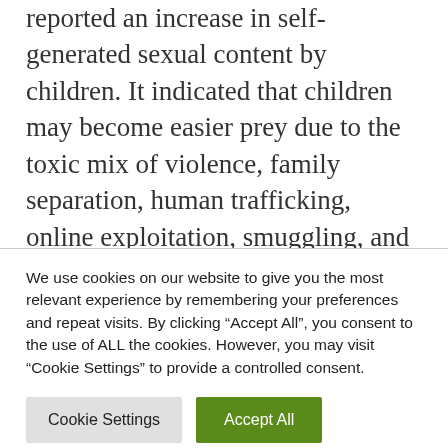reported an increase in self-generated sexual content by children. It indicated that children may become easier prey due to the toxic mix of violence, family separation, human trafficking, online exploitation, smuggling, and illegal adoption [6]. This is not a new phenomenon, ECPAT International confirms, it is a systemic problem occurring in humanitarian crises, be it armed conflict, climate change or natural disasters. However, the sexual exploitation of children is not
We use cookies on our website to give you the most relevant experience by remembering your preferences and repeat visits. By clicking “Accept All”, you consent to the use of ALL the cookies. However, you may visit “Cookie Settings” to provide a controlled consent.